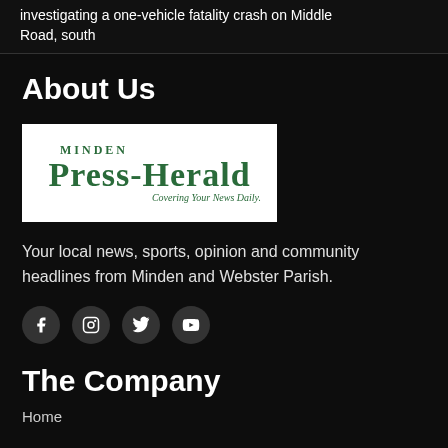investigating a one-vehicle fatality crash on Middle Road, south
About Us
[Figure (logo): Minden Press-Herald logo with tagline 'Covering Your News Daily.']
Your local news, sports, opinion and community headlines from Minden and Webster Parish.
[Figure (other): Social media icons: Facebook, Instagram, Twitter, YouTube]
The Company
Home